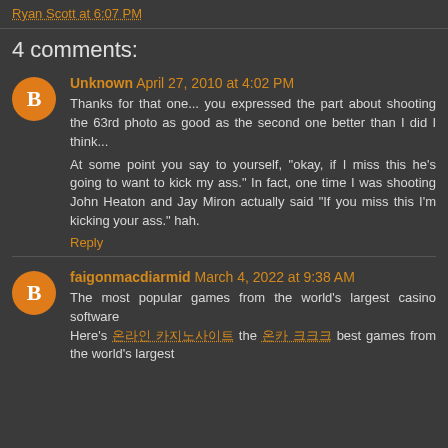Ryan Scott at 6:07 PM
4 comments:
Unknown April 27, 2010 at 4:02 PM
Thanks for that one... you expressed the part about shooting the 63rd photo as good as the second one better than I did I think...
At some point you say to yourself, "okay, if I miss this he's going to want to kick my ass." In fact, one time I was shooting John Heaton and Jay Miron actually said "If you miss this I'm kicking your ass." hah.
Reply
faigonmacdiarmid March 4, 2022 at 9:38 AM
The most popular games from the world's largest casino software
Here's 온라인 카지노사이트 the 온카 크크크 best games from the world's largest casino software. When 가장 카지노 the best ...